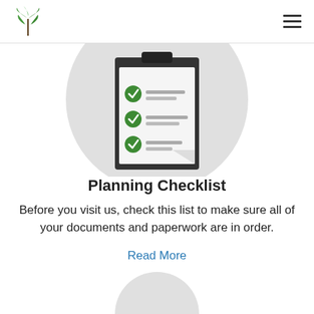[Figure (illustration): A checklist clipboard icon with green checkmarks on a light gray circular background, partially cropped at top]
Planning Checklist
Before you visit us, check this list to make sure all of your documents and paperwork are in order.
Read More